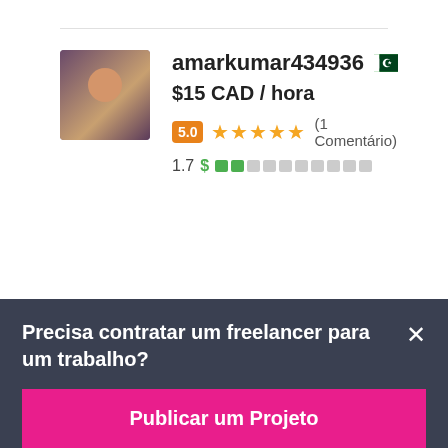[Figure (photo): Profile photo of amarkumar434936, a person in a dark jacket, square avatar]
amarkumar434936
$15 CAD / hora
5.0 ★★★★★ (1 Comentário)
1.7 $ ██░░░░░░░░
[Figure (photo): Profile photo of abdulbasitone, building exterior avatar]
abdulbasitone
Precisa contratar um freelancer para um trabalho?
Publicar um Projeto